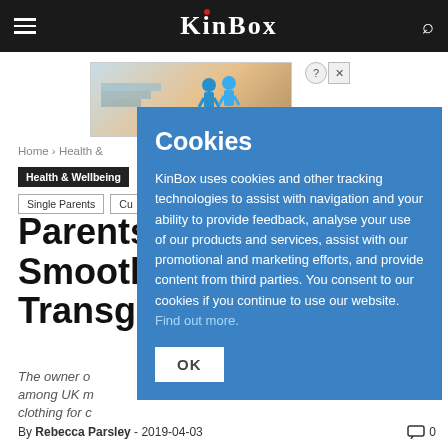KinBox
[Figure (screenshot): Advertisement banner image with gradient background and two blue figure icons]
Home › Health &
Health & Wellbeing
Single Parents
Cu...
Parents Smooth Transge...
The owner o... among UK m... clothing for c...
By Rebecca Parsley - 2019-04-03
[Figure (screenshot): Cookie consent dialog overlay with blue background. Title: Cookies. Body: KinBox uses cookies and other tracking technologies to assist with navigation and your ability to provide feedback, analyse your use of our products and services, assist with our promotional and marketing efforts, and provide content from third parties. You consent to our cookies if you continue to use our website. Find out more. Button: OK]